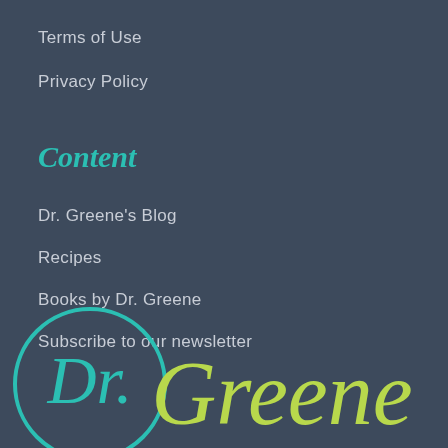Terms of Use
Privacy Policy
Content
Dr. Greene's Blog
Recipes
Books by Dr. Greene
Subscribe to our newsletter
[Figure (logo): Dr. Greene logo: teal circle with 'Dr.' inside in teal serif font, followed by 'Greene' in yellow-green serif font]